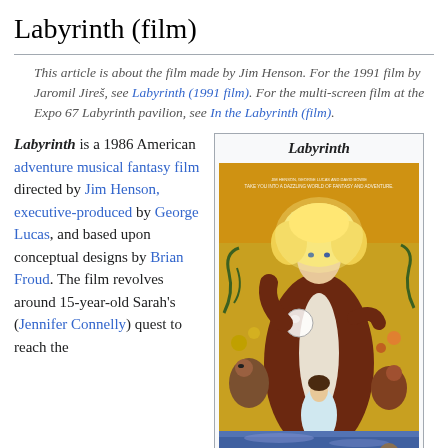Labyrinth (film)
This article is about the film made by Jim Henson. For the 1991 film by Jaromil Jireš, see Labyrinth (1991 film). For the multi-screen film at the Expo 67 Labyrinth pavilion, see In the Labyrinth (film).
Labyrinth is a 1986 American adventure musical fantasy film directed by Jim Henson, executive-produced by George Lucas, and based upon conceptual designs by Brian Froud. The film revolves around 15-year-old Sarah's (Jennifer Connelly) quest to reach the
[Figure (other): Infobox with movie poster for Labyrinth film, showing illustrated poster with David Bowie as Jareth holding a crystal ball above Jennifer Connelly as Sarah, surrounded by fantasy creatures on a golden background. Title 'Labyrinth' shown at top.]